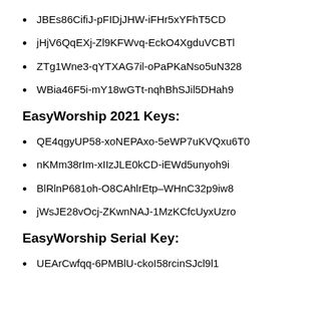JBEs86CifiJ-pFIDjJHW-iFHr5xYFhT5CD
jHjV6QqEXj-Zl9KFWvq-EckO4XgduVCBTl
ZTg1Wne3-qYTXAG7il-oPaPKaNso5uN328
WBia46F5i-mY18wGTt-nqhBhSJil5DHah9
EasyWorship 2021 Keys:
QE4qgyUP58-xoNEPAxo-5eWP7uKVQxu6T0
nKMm38rIm-xIIzJLE0kCD-iEWd5unyoh9i
BlRlnP681oh-O8CAhlrEtp–WHnC32p9iw8
jWsJE28vOcj-ZKwnNAJ-1MzKCfcUyxUzro
EasyWorship Serial Key:
UEArCwfqq-6PMBlU-ckoI58rcinSJcl9l1